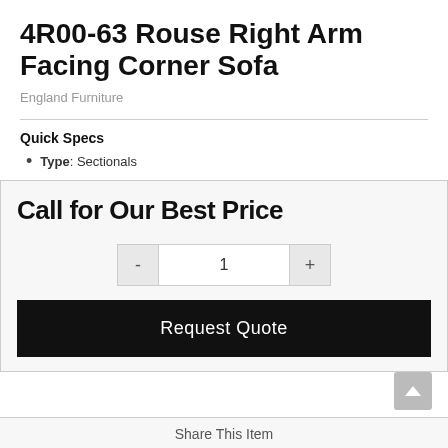4R00-63 Rouse Right Arm Facing Corner Sofa
England Furniture
Quick Specs
Type: Sectionals
Call for Our Best Price
Request Quote
Share This Item